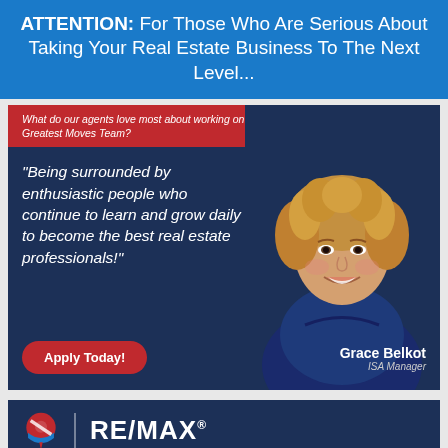ATTENTION: For Those Who Are Serious About Taking Your Real Estate Business To The Next Level...
What do our agents love most about working on the Greatest Moves Team?
"Being surrounded by enthusiastic people who continue to learn and grow daily to become the best real estate professionals!"
[Figure (photo): Photo of Grace Belkot, ISA Manager, a woman with curly blonde hair wearing a dark blue top, smiling]
Grace Belkot
ISA Manager
Apply Today!
[Figure (logo): RE/MAX logo with hot air balloon icon on dark blue background]